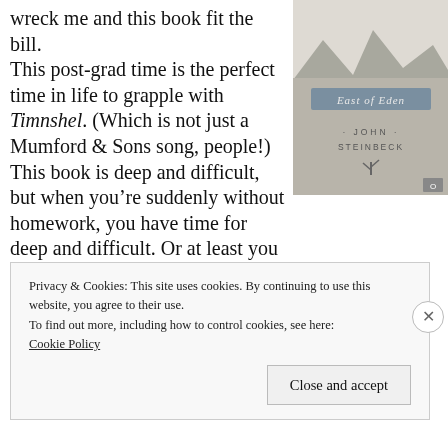wreck me and this book fit the bill.
This post-grad time is the perfect time in life to grapple with Timnshel. (Which is not just a Mumford & Sons song, people!)
This book is deep and difficult, but when you’re suddenly without homework, you have time for deep and difficult. Or at least you should make time for it.
[Figure (photo): Book cover of East of Eden by John Steinbeck, showing a wintry landscape scene with the title and author name.]
Privacy & Cookies: This site uses cookies. By continuing to use this website, you agree to their use.
To find out more, including how to control cookies, see here: Cookie Policy
Close and accept